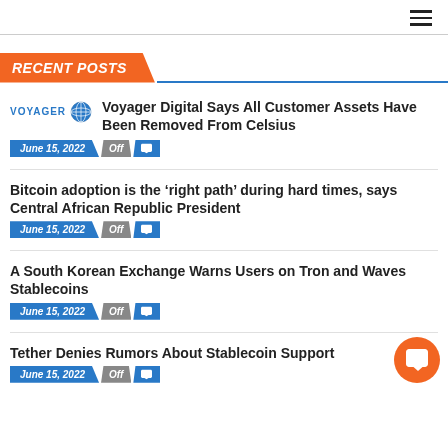RECENT POSTS
Voyager Digital Says All Customer Assets Have Been Removed From Celsius
June 15, 2022  Off
Bitcoin adoption is the ‘right path’ during hard times, says Central African Republic President
June 15, 2022  Off
A South Korean Exchange Warns Users on Tron and Waves Stablecoins
June 15, 2022  Off
Tether Denies Rumors About Stablecoin Support
June 15, 2022  Off